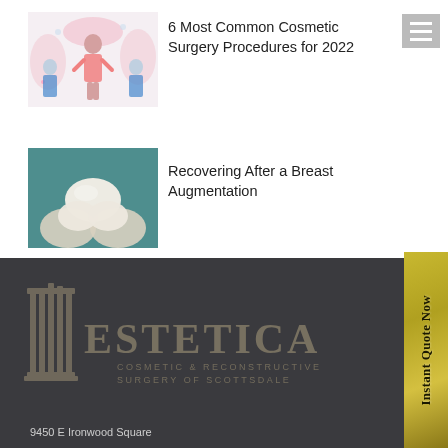[Figure (illustration): Illustration of a woman in pink with medical staff on either side, pink floral background]
6 Most Common Cosmetic Surgery Procedures for 2022
[Figure (photo): Close-up photo of breast implants held in gloved hands against a teal surgical background]
Recovering After a Breast Augmentation
[Figure (logo): Estetica Cosmetic & Reconstructive Surgery of Scottsdale logo with pillars on dark background]
9450 E Ironwood Square